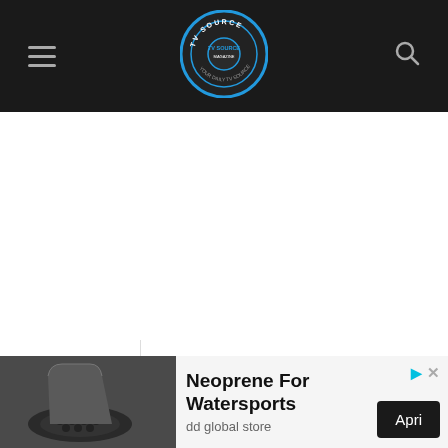TV Source Magazine — navigation header with hamburger menu, logo, and search icon
[Figure (screenshot): White blank content area below the navigation header]
[Figure (screenshot): Chevron down arrow panel at bottom left]
[Figure (infographic): Advertisement banner: Neoprene For Watersports, dd global store, with boot image and Apri button]